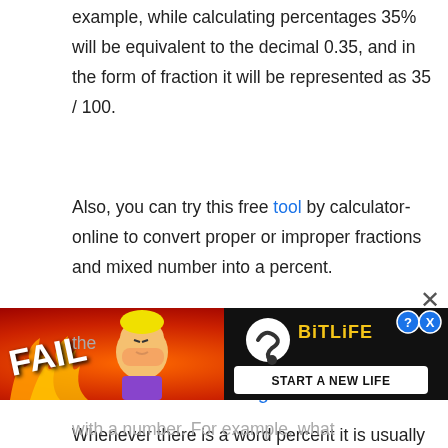example, while calculating percentages 35% will be equivalent to the decimal 0.35, and in the form of fraction it will be represented as 35 / 100.
Also, you can try this free tool by calculator-online to convert proper or improper fractions and mixed number into a percent.
Percent vs. Percentage:
Whenever there is a word percent it is usually the representation that is used with a number. For example, 50 percent. However, the [ad overlay] used with a number. For example, what
[Figure (infographic): Advertisement banner for BitLife game. Red/orange flame background with cartoon character face-palming and fire. Text reads FAIL in large white letters. BitLife logo in yellow with question mark badge. Black bar at bottom reading START A NEW LIFE. Close X button at top right.]